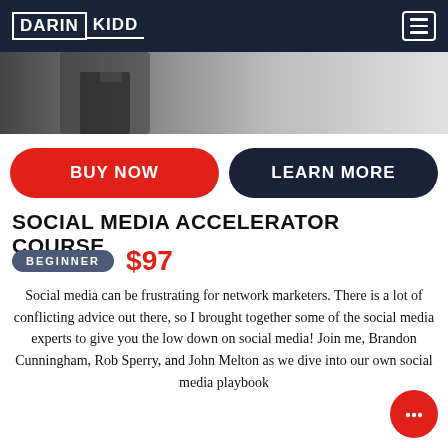DARIN KIDD
[Figure (photo): Partial photo of a person in a dark suit, cropped at the top]
BUY NOW
LEARN MORE
SOCIAL MEDIA ACCELERATOR COURSE
BEGINNER  $97
Social media can be frustrating for network marketers. There is a lot of conflicting advice out there, so I brought together some of the social media experts to give you the low down on social media! Join me, Brandon Cunningham, Rob Sperry, and John Melton as we dive into our own social media playbook